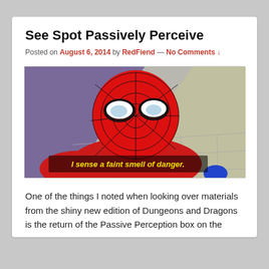See Spot Passively Perceive
Posted on August 6, 2014 by RedFiend — No Comments ↓
[Figure (photo): A still from the 1960s Spider-Man cartoon showing Spider-Man looking sideways with a caption: 'I sense a faint smell of danger.']
One of the things I noted when looking over materials from the shiny new edition of Dungeons and Dragons is the return of the Passive Perception box on the character sheet...